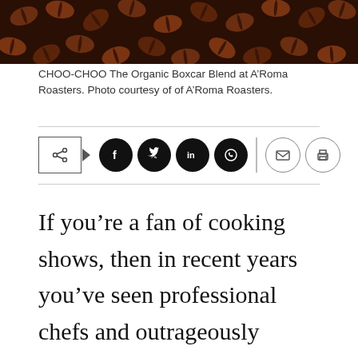[Figure (photo): Close-up photo of dark roasted coffee beans filling the frame]
CHOO-CHOO The Organic Boxcar Blend at A’Roma Roasters. Photo courtesy of of A’Roma Roasters.
[Figure (infographic): Social sharing bar with share button, Facebook, Twitter, LinkedIn, WhatsApp icons (filled circles), vertical divider, email and print icons (outline circles)]
If you’re a fan of cooking shows, then in recent years you’ve seen professional chefs and outrageously talented (mostly British) bakers tackle all manner of